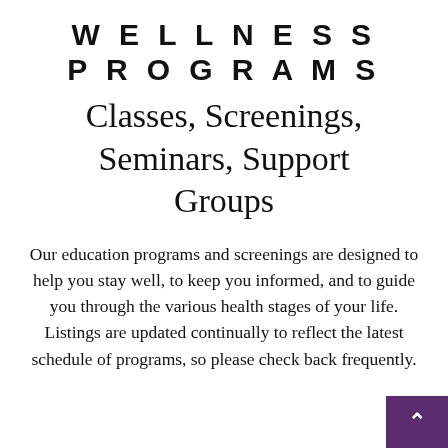WELLNESS PROGRAMS
Classes, Screenings, Seminars, Support Groups
Our education programs and screenings are designed to help you stay well, to keep you informed, and to guide you through the various health stages of your life. Listings are updated continually to reflect the latest schedule of programs, so please check back frequently.